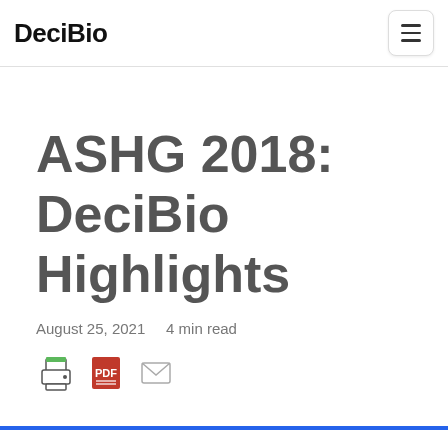DeciBio
ASHG 2018: DeciBio Highlights
August 25, 2021    4 min read
[Figure (other): Row of share/print icons: printer icon, PDF icon, email/envelope icon]